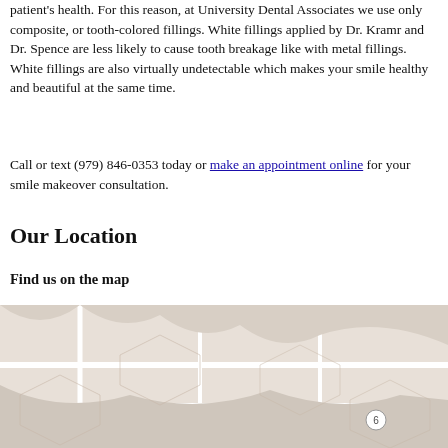patient's health. For this reason, at University Dental Associates we use only composite, or tooth-colored fillings. White fillings applied by Dr. Kramr and Dr. Spence are less likely to cause tooth breakage like with metal fillings. White fillings are also virtually undetectable which makes your smile healthy and beautiful at the same time.
Call or text (979) 846-0353 today or make an appointment online for your smile makeover consultation.
Our Location
Find us on the map
[Figure (map): A Google Maps or similar street map showing the location of University Dental Associates. The bottom portion of the page shows the beginning of a map view with street outlines and a circled number 6 label visible.]